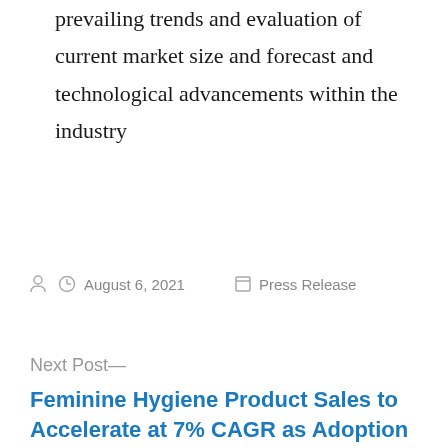prevailing trends and evaluation of current market size and forecast and technological advancements within the industry
Posted by  August 6, 2021  Press Release
Next Post—
Feminine Hygiene Product Sales to Accelerate at 7% CAGR as Adoption of Disposable, Biodegradable Products Increases: Future Market Insights